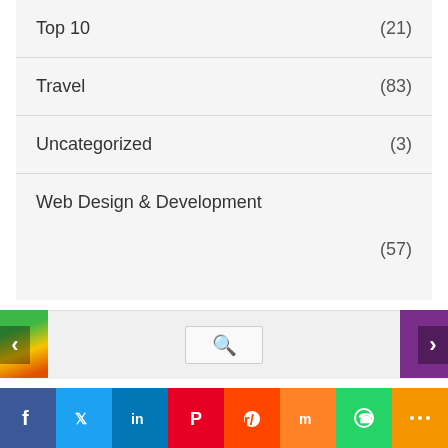Top 10 (21)
Travel (83)
Uncategorized (3)
Web Design & Development (57)